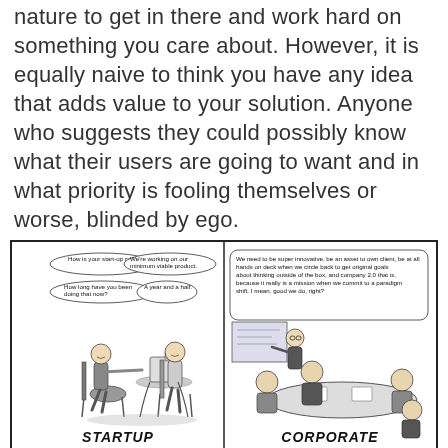nature to get in there and work hard on something you care about. However, it is equally naive to think you have any idea that adds value to your solution. Anyone who suggests they could possibly know what their users are going to want and in what priority is fooling themselves or worse, blinded by ego.
[Figure (illustration): A two-panel comic strip. Left panel labeled 'STARTUP' shows two people having a casual coffee meeting. Speech bubbles: 'How is your start-up coming along?', 'We're working on our minimum viable product.', 'How long have you been doing that now?', 'A year and a half.' Right panel labeled 'CORPORATE' shows a person presenting to blank-faced colleagues with a long corporate speech bubble. Attribution: @culturalHQ]
It so happens that the same day this new buzz phrase of mine came up, I also found myself in